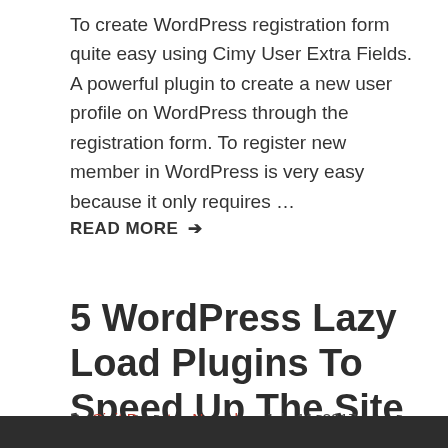To create WordPress registration form quite easy using Cimy User Extra Fields. A powerful plugin to create a new user profile on WordPress through the registration form. To register new member in WordPress is very easy because it only requires ...
READ MORE →
5 WordPress Lazy Load Plugins To Speed Up The Site
By Sigit Prasetya Nugroho · July 11, 2017 · Wordpress · Leave a Comment